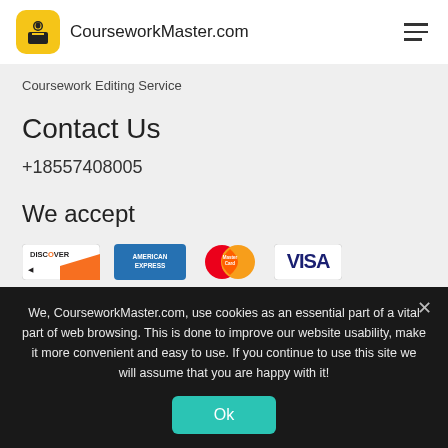CourseworkMaster.com
Coursework Editing Service
Contact Us
+18557408005
We accept
[Figure (logo): Payment method logos: Discover, American Express, MasterCard, Visa]
We, CourseworkMaster.com, use cookies as an essential part of a vital part of web browsing. This is done to improve our website usability, make it more convenient and easy to use. If you continue to use this site we will assume that you are happy with it!